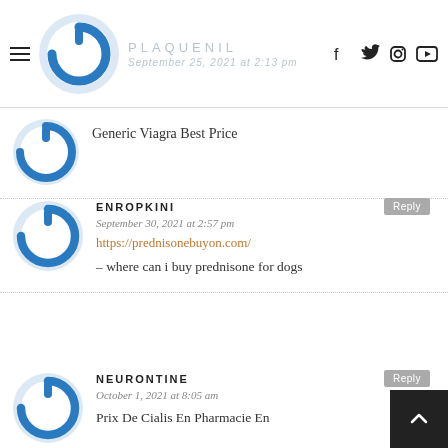PLAQUENIL
Generic Viagra Best Price
ENROPKINI
September 30, 2021 at 2:57 pm
https://prednisonebuyon.com/
– where can i buy prednisone for dogs
NEURONTINE
October 1, 2021 at 8:05 am
Prix De Cialis En Pharmacie En